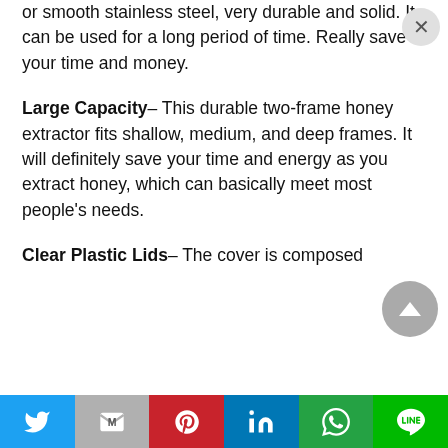or smooth stainless steel, very durable and solid. It can be used for a long period of time. Really save your time and money.
Large Capacity– This durable two-frame honey extractor fits shallow, medium, and deep frames. It will definitely save your time and energy as you extract honey, which can basically meet most people's needs.
Clear Plastic Lids– The cover is composed